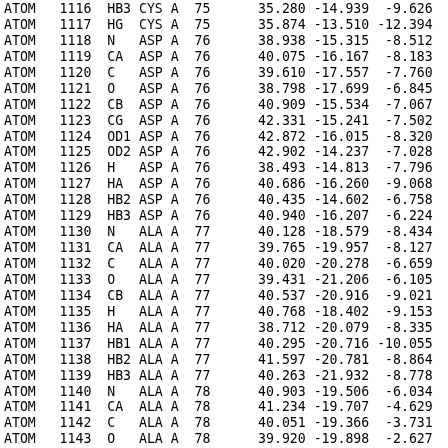| Record | Num | Atom | Res | Chain | ResNum | X | Y | Z |
| --- | --- | --- | --- | --- | --- | --- | --- | --- |
| ATOM | 1116 | HB3 | CYS | A | 75 | 35.280 | -14.939 | -9.626 |
| ATOM | 1117 | HG | CYS | A | 75 | 35.874 | -13.510 | -12.394 |
| ATOM | 1118 | N | ASP | A | 76 | 38.938 | -15.315 | -8.512 |
| ATOM | 1119 | CA | ASP | A | 76 | 40.075 | -16.167 | -8.183 |
| ATOM | 1120 | C | ASP | A | 76 | 39.610 | -17.557 | -7.760 |
| ATOM | 1121 | O | ASP | A | 76 | 38.798 | -17.699 | -6.845 |
| ATOM | 1122 | CB | ASP | A | 76 | 40.909 | -15.534 | -7.067 |
| ATOM | 1123 | CG | ASP | A | 76 | 42.331 | -15.241 | -7.502 |
| ATOM | 1124 | OD1 | ASP | A | 76 | 42.872 | -16.015 | -8.320 |
| ATOM | 1125 | OD2 | ASP | A | 76 | 42.902 | -14.237 | -7.028 |
| ATOM | 1126 | H | ASP | A | 76 | 38.493 | -14.813 | -7.796 |
| ATOM | 1127 | HA | ASP | A | 76 | 40.686 | -16.260 | -9.068 |
| ATOM | 1128 | HB2 | ASP | A | 76 | 40.435 | -14.602 | -6.758 |
| ATOM | 1129 | HB3 | ASP | A | 76 | 40.940 | -16.207 | -6.224 |
| ATOM | 1130 | N | ALA | A | 77 | 40.128 | -18.579 | -8.434 |
| ATOM | 1131 | CA | ALA | A | 77 | 39.765 | -19.957 | -8.127 |
| ATOM | 1132 | C | ALA | A | 77 | 40.020 | -20.278 | -6.659 |
| ATOM | 1133 | O | ALA | A | 77 | 39.431 | -21.206 | -6.105 |
| ATOM | 1134 | CB | ALA | A | 77 | 40.537 | -20.916 | -9.021 |
| ATOM | 1135 | H | ALA | A | 77 | 40.768 | -18.402 | -9.153 |
| ATOM | 1136 | HA | ALA | A | 77 | 38.712 | -20.079 | -8.335 |
| ATOM | 1137 | HB1 | ALA | A | 77 | 40.295 | -20.716 | -10.055 |
| ATOM | 1138 | HB2 | ALA | A | 77 | 41.597 | -20.781 | -8.864 |
| ATOM | 1139 | HB3 | ALA | A | 77 | 40.263 | -21.932 | -8.778 |
| ATOM | 1140 | N | ALA | A | 78 | 40.903 | -19.506 | -6.034 |
| ATOM | 1141 | CA | ALA | A | 78 | 41.234 | -19.707 | -4.629 |
| ATOM | 1142 | C | ALA | A | 78 | 40.051 | -19.366 | -3.731 |
| ATOM | 1143 | O | ALA | A | 78 | 39.920 | -19.898 | -2.627 |
| ATOM | 1144 | CB | ALA | A | 78 | 42.446 | -18.872 | -4.248 |
| ATOM | 1145 | H | ALA | A | 78 | 41.340 | -18.782 | -6.529 |